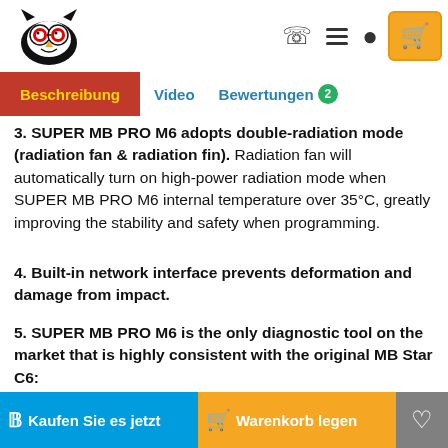Beschreibung | Video | Bewertungen 2
3. SUPER MB PRO M6 adopts double-radiation mode (radiation fan & radiation fin). Radiation fan will automatically turn on high-power radiation mode when SUPER MB PRO M6 internal temperature over 35°C, greatly improving the stability and safety when programming.
4. Built-in network interface prevents deformation and damage from impact.
5. SUPER MB PRO M6 is the only diagnostic tool on the market that is highly consistent with the original MB Star C6:
Kaufen Sie es jetzt | Warenkorb legen